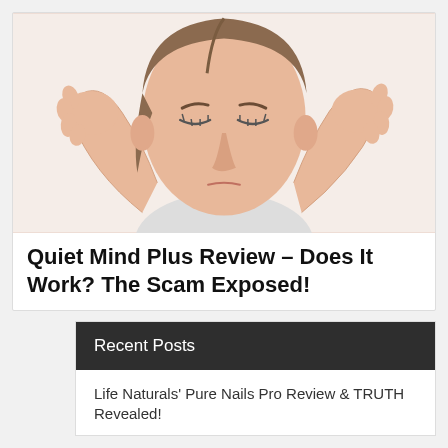[Figure (photo): Woman with brown hair covering her ears with both hands, eyes closed, appearing distressed, on white background]
Quiet Mind Plus Review – Does It Work? The Scam Exposed!
Recent Posts
Life Naturals' Pure Nails Pro Review & TRUTH Revealed!